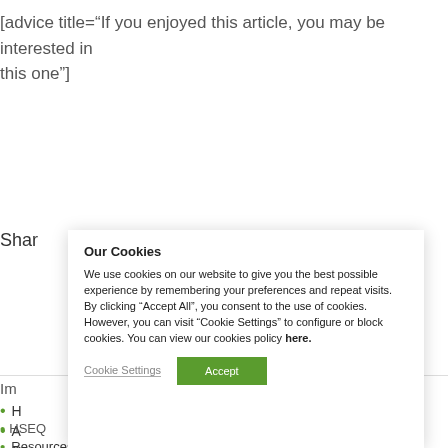[advice title="If you enjoyed this article, you may be interested in this one"]
Shar
Our Cookies

We use cookies on our website to give you the best possible experience by remembering your preferences and repeat visits. By clicking “Accept All”, you consent to the use of cookies. However, you can visit "Cookie Settings" to configure or block cookies. You can view our cookies policy here.
Im
H
A
C
HSEQ
Resources
Generation
Youtube